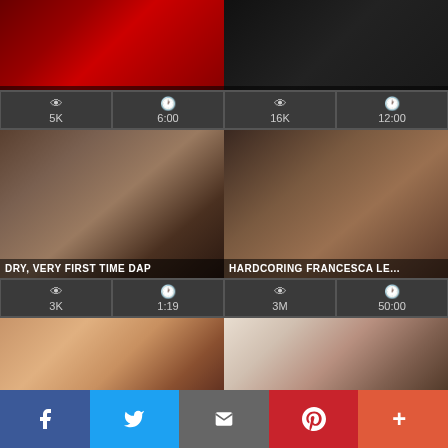[Figure (screenshot): Video thumbnail top left with red banner overlay]
[Figure (screenshot): Video thumbnail top right with dark banner overlay]
| Views | Duration | Views | Duration |
| --- | --- | --- | --- |
| 5K | 6:00 | 16K | 12:00 |
[Figure (screenshot): DRY, VERY FIRST TIME DAP - tattooed performers video thumbnail]
[Figure (screenshot): HARDCORING FRANCESCA LE - video thumbnail]
| Views | Duration | Views | Duration |
| --- | --- | --- | --- |
| 3K | 1:19 | 3M | 50:00 |
[Figure (screenshot): Close-up video thumbnail bottom left]
[Figure (screenshot): Video thumbnail bottom right]
Facebook  Twitter  Email  Pinterest  More